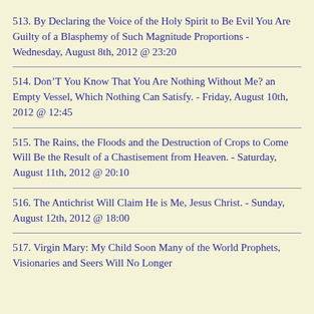513. By Declaring the Voice of the Holy Spirit to Be Evil You Are Guilty of a Blasphemy of Such Magnitude Proportions - Wednesday, August 8th, 2012 @ 23:20
514. Don’T You Know That You Are Nothing Without Me? an Empty Vessel, Which Nothing Can Satisfy. - Friday, August 10th, 2012 @ 12:45
515. The Rains, the Floods and the Destruction of Crops to Come Will Be the Result of a Chastisement from Heaven. - Saturday, August 11th, 2012 @ 20:10
516. The Antichrist Will Claim He is Me, Jesus Christ. - Sunday, August 12th, 2012 @ 18:00
517. Virgin Mary: My Child Soon Many of the World Prophets, Visionaries and Seers Will No Longer…